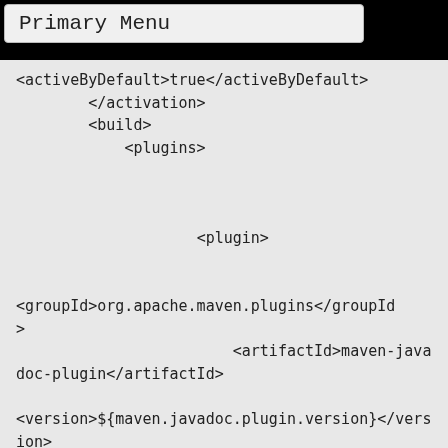Primary Menu
<activeByDefault>true</activeByDefault>
            </activation>
            <build>
                <plugins>


                        <plugin>


<groupId>org.apache.maven.plugins</groupId>
                            <artifactId>maven-javadoc-plugin</artifactId>

<version>${maven.javadoc.plugin.version}</version>
                            <executions>
                                <execution>
                                    <id>attach-javadocs</id>
                                    <goals>
                                        <goal>jar</goal>
                                    </goals>
                                </execution>